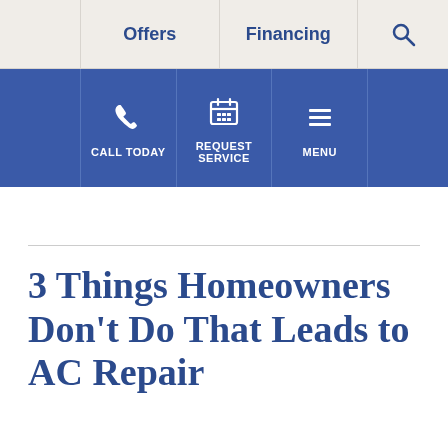Offers | Financing | Search
[Figure (infographic): Blue action bar with three buttons: CALL TODAY (phone icon), REQUEST SERVICE (calendar icon), MENU (hamburger menu icon)]
3 Things Homeowners Don't Do That Leads to AC Repair